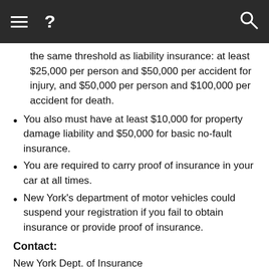≡  ?  🔍
the same threshold as liability insurance: at least $25,000 per person and $50,000 per accident for injury, and $50,000 per person and $100,000 per accident for death.
You also must have at least $10,000 for property damage liability and $50,000 for basic no-fault insurance.
You are required to carry proof of insurance in your car at all times.
New York's department of motor vehicles could suspend your registration if you fail to obtain insurance or provide proof of insurance.
Contact:
New York Dept. of Insurance